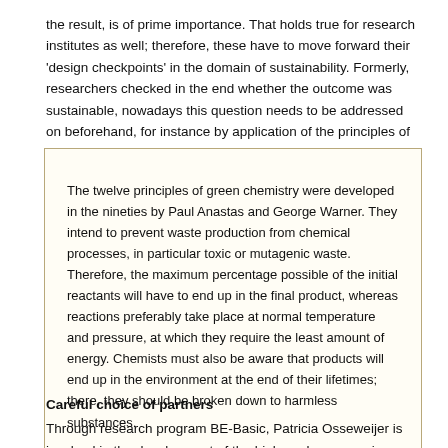the result, is of prime importance. That holds true for research institutes as well; therefore, these have to move forward their 'design checkpoints' in the domain of sustainability. Formerly, researchers checked in the end whether the outcome was sustainable, nowadays this question needs to be addressed on beforehand, for instance by application of the principles of green chemistry.'
The twelve principles of green chemistry were developed in the nineties by Paul Anastas and George Warner. They intend to prevent waste production from chemical processes, in particular toxic or mutagenic waste. Therefore, the maximum percentage possible of the initial reactants will have to end up in the final product, whereas reactions preferably take place at normal temperature and pressure, at which they require the least amount of energy. Chemists must also be aware that products will end up in the environment at the end of their lifetimes; there, they should be broken down to harmless substances.
Careful choice of partners
Through research program BE-Basic, Patricia Osseweijer is involved in the development of the biobased economy in